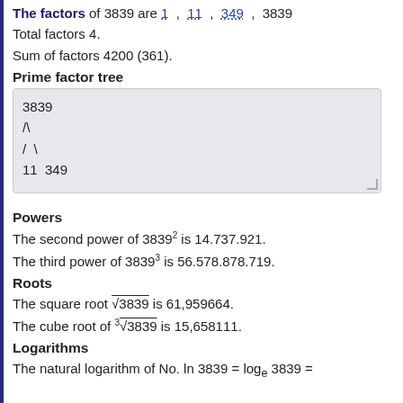The factors of 3839 are 1, 11, 349, 3839
Total factors 4.
Sum of factors 4200 (361).
Prime factor tree
[Figure (other): Prime factor tree showing 3839 split into 11 and 349 using ASCII art with / and \ characters]
Powers
The second power of 3839² is 14.737.921.
The third power of 3839³ is 56.578.878.719.
Roots
The square root √3839 is 61,959664.
The cube root of ³√3839 is 15,658111.
Logarithms
The natural logarithm of No. ln 3839 = log₉ 3839 =